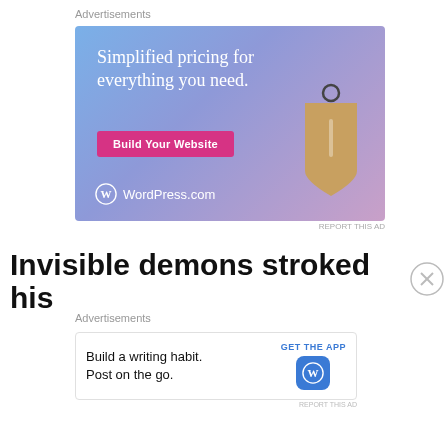[Figure (other): WordPress.com advertisement banner with gradient blue/purple background, text 'Simplified pricing for everything you need.', a pink 'Build Your Website' button, a price tag icon, and WordPress.com logo]
REPORT THIS AD
Invisible demons stroked his
[Figure (other): WordPress.com small advertisement banner with text 'Build a writing habit. Post on the go.', GET THE APP button, and WordPress logo icon]